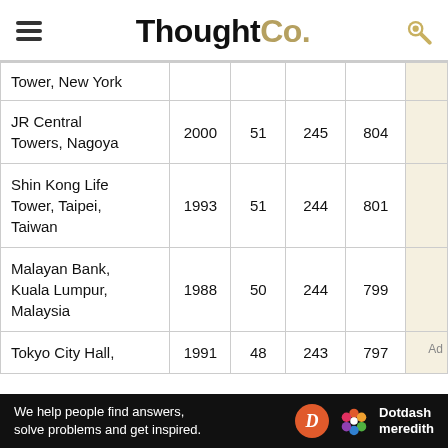ThoughtCo.
| Building | Year | Floors | m | ft |  |
| --- | --- | --- | --- | --- | --- |
| [Empire State] Tower, New York |  |  |  |  |  |
| JR Central Towers, Nagoya | 2000 | 51 | 245 | 804 |  |
| Shin Kong Life Tower, Taipei, Taiwan | 1993 | 51 | 244 | 801 |  |
| Malayan Bank, Kuala Lumpur, Malaysia | 1988 | 50 | 244 | 799 |  |
| Tokyo City Hall, | 1991 | 48 | 243 | 797 | Ad |